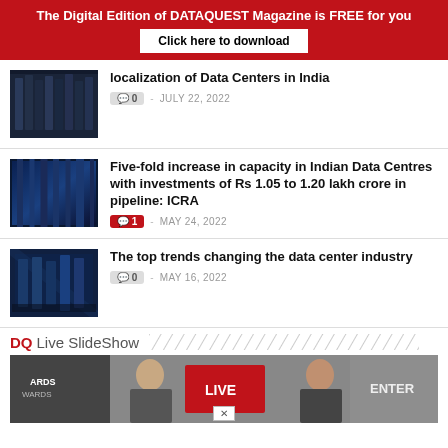The Digital Edition of DATAQUEST Magazine is FREE for you
Click here to download
localization of Data Centers in India
0 - JULY 22, 2022
Five-fold increase in capacity in Indian Data Centres with investments of Rs 1.05 to 1.20 lakh crore in pipeline: ICRA
1 - MAY 24, 2022
The top trends changing the data center industry
0 - MAY 16, 2022
DQ Live SlideShow
[Figure (photo): Event photo showing two men at what appears to be a conference or awards ceremony with LIVE and ENTER signage visible]